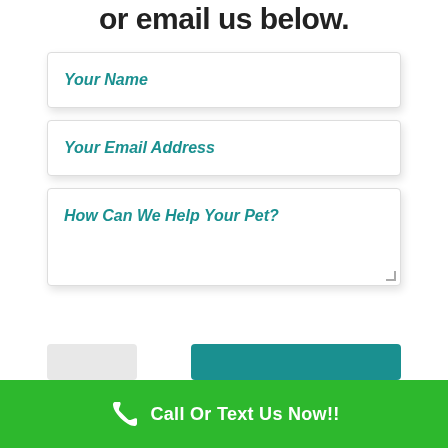or email us below.
Your Name
Your Email Address
How Can We Help Your Pet?
Call Or Text Us Now!!